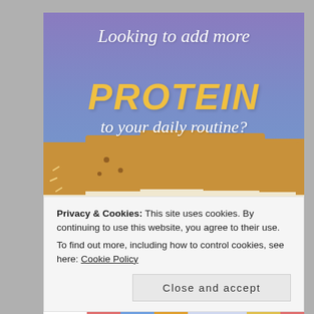[Figure (photo): Advertisement image with purple-to-blue gradient background showing text 'Looking to add more PROTEIN to your daily routine?' and protein pancake mix packages at the bottom.]
Privacy & Cookies: This site uses cookies. By continuing to use this website, you agree to their use.
To find out more, including how to control cookies, see here: Cookie Policy
Close and accept
[Figure (photo): Partial bottom strip showing colorful protein pancake mix product packaging with text 'Easy to Prepare, Just Add Water' and nutrition icons.]